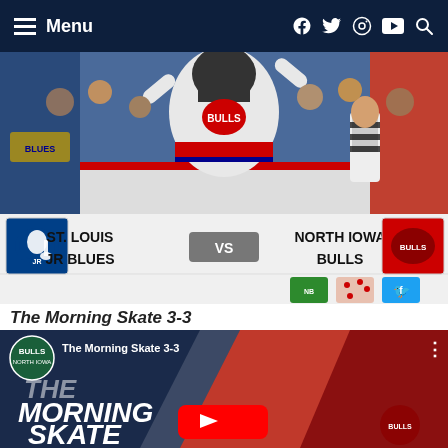Menu
[Figure (photo): Hockey player in white North Iowa Bulls jersey celebrating with arms raised, referee in background, crowd in stands]
[Figure (infographic): Scoreboard graphic: St. Louis Jr Blues vs North Iowa Bulls with team logos and sponsor icons]
The Morning Skate 3-3
[Figure (screenshot): YouTube video thumbnail for 'The Morning Skate 3-3' showing THE MORNING SKATE text on dark blue and red background with play button]